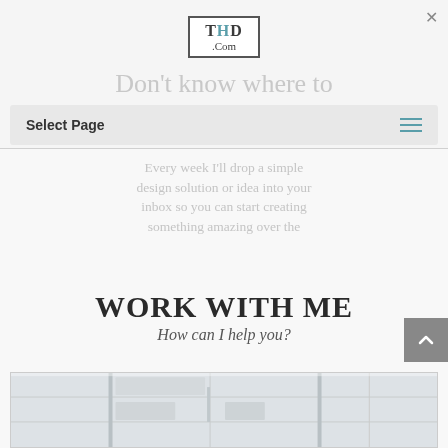[Figure (logo): THD.com logo in a bordered box with teal H letter]
Don't know where to start?
Check out Simplify Fridays...
[Figure (screenshot): Navigation bar with Select Page text and hamburger menu icon]
Every week I'll drop a simple design solution or idea into your inbox so you can start creating something amazing over the
WORK WITH ME
How can I help you?
[Figure (photo): Interior photo showing white shelving or storage units, partially visible at bottom of page]